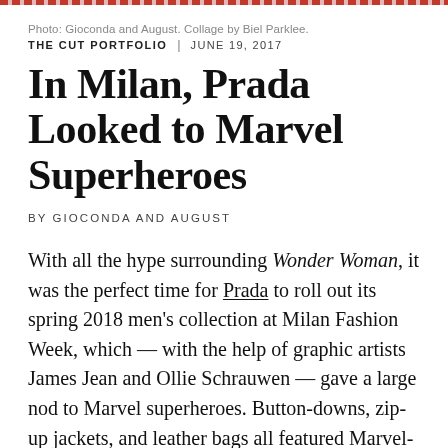Photo: Gioconda and August. Collage by Biel Parklee.
THE CUT PORTFOLIO | JUNE 19, 2017
In Milan, Prada Looked to Marvel Superheroes
By Gioconda and August
With all the hype surrounding Wonder Woman, it was the perfect time for Prada to roll out its spring 2018 men's collection at Milan Fashion Week, which — with the help of graphic artists James Jean and Ollie Schrauwen — gave a large nod to Marvel superheroes. Button-downs, zip-up jackets, and leather bags all featured Marvel-style graphic designs, but tailored blazers and sporty windbreakers kept the motif from hinging on